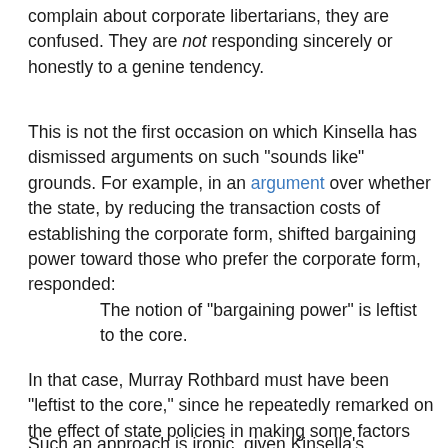complain about corporate libertarians, they are confused. They are not responding sincerely or honestly to a genine tendency.
This is not the first occasion on which Kinsella has dismissed arguments on such "sounds like" grounds. For example, in an argument over whether the state, by reducing the transaction costs of establishing the corporate form, shifted bargaining power toward those who prefer the corporate form, responded:
The notion of "bargaining power" is leftist to the core.
In that case, Murray Rothbard must have been "leftist to the core," since he repeatedly remarked on the effect of state policies in making some factors artificially scarce in relation to others, and thus artificially inflating their returns.
Such an approach is ironic, given Kinsella's vulnerability to